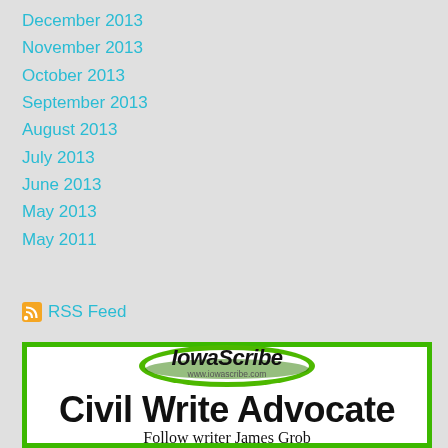December 2013
November 2013
October 2013
September 2013
August 2013
July 2013
June 2013
May 2013
May 2011
RSS Feed
[Figure (logo): IowaScribe logo with green oval, text 'IowaScribe www.iowascribe.com', followed by 'Civil Write Advocate' in bold and 'Follow writer James Grob' below]